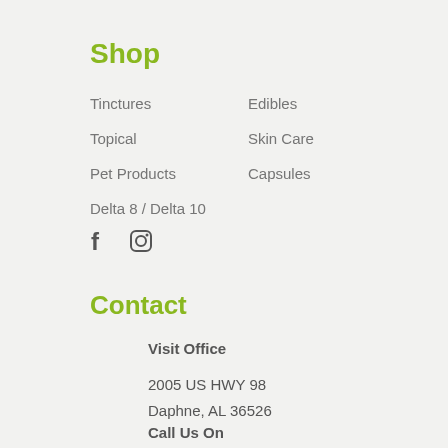Shop
Tinctures
Edibles
Topical
Skin Care
Pet Products
Capsules
Delta 8 / Delta 10
[Figure (logo): Facebook and Instagram social media icons]
Contact
Visit Office
2005 US HWY 98
Daphne, AL 36526
Call Us On